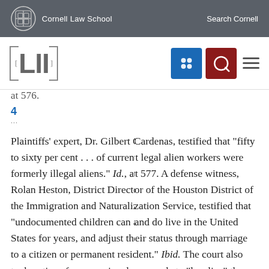Cornell Law School   Search Cornell
[Figure (logo): LII Legal Information Institute logo with navigation buttons]
at 576.
4
Plaintiffs' expert, Dr. Gilbert Cardenas, testified that "fifty to sixty per cent . . . of current legal alien workers were formerly illegal aliens." Id., at 577. A defense witness, Rolan Heston, District Director of the Houston District of the Immigration and Naturalization Service, testified that "undocumented children can and do live in the United States for years, and adjust their status through marriage to a citizen or permanent resident." Ibid. The court also took notice of congressional proposals to "legalize" the status of many unlawful entrants. Id., at 577-578. See also n.